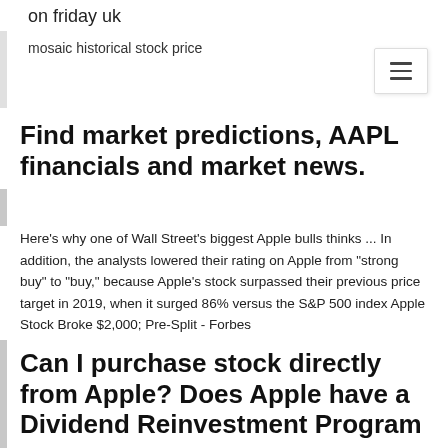on friday uk
mosaic historical stock price
Find market predictions, AAPL financials and market news.
Here's why one of Wall Street's biggest Apple bulls thinks ... In addition, the analysts lowered their rating on Apple from "strong buy" to "buy," because Apple's stock surpassed their previous price target in 2019, when it surged 86% versus the S&P 500 index Apple Stock Broke $2,000; Pre-Split - Forbes
Can I purchase stock directly from Apple? Does Apple have a Dividend Reinvestment Program